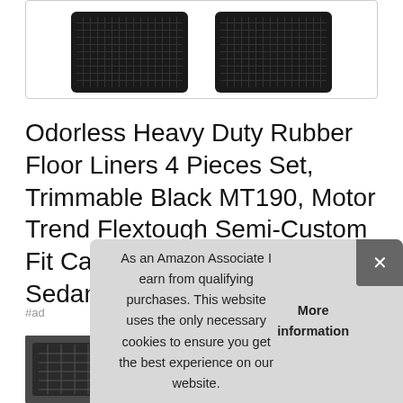[Figure (photo): Two black rubber car floor mat liners shown side by side inside a white bordered box]
Odorless Heavy Duty Rubber Floor Liners 4 Pieces Set, Trimmable Black MT190, Motor Trend Flextough Semi-Custom Fit Car Floor Mats for Coupe Sedan Van SUV & Truck
#ad
[Figure (photo): Small product thumbnail showing car interior floor mat]
As an Amazon Associate I earn from qualifying purchases. This website uses the only necessary cookies to ensure you get the best experience on our website. More information